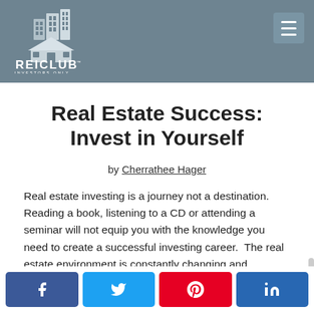[Figure (logo): REICLUB Investors Only logo — white building/house icon on grey background with text REICLUB INVESTORS ONLY]
Real Estate Success: Invest in Yourself
by Cherrathee Hager
Real estate investing is a journey not a destination. Reading a book, listening to a CD or attending a seminar will not equip you with the knowledge you need to create a successful investing career.  The real estate environment is constantly changing and
[Figure (infographic): Social share buttons: Facebook (blue), Twitter (light blue), Pinterest (red), LinkedIn (dark blue)]